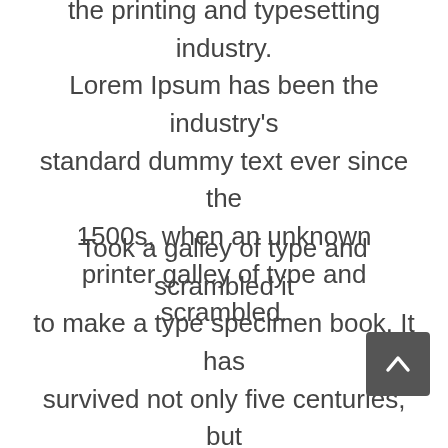the printing and typesetting industry. Lorem Ipsum has been the industry's standard dummy text ever since the 1500s, when an unknown printer galley of type and scrambled.
Took a galley of type and scrambled it to make a type specimen book. It has survived not only five centuries, but also the leap into electronic typesetting, remaining essentially unchanged. It was popularised in the 1960s with the release of Letraset sheets containing Lorem Ipsum